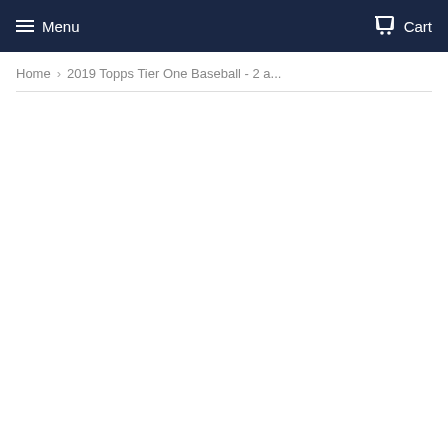Menu  Cart
Home › 2019 Topps Tier One Baseball - 2 a...